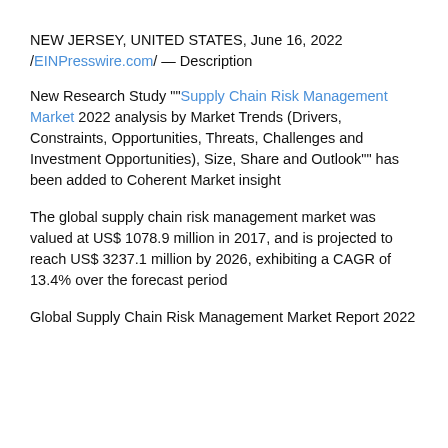NEW JERSEY, UNITED STATES, June 16, 2022 /EINPresswire.com/ — Description
New Research Study ""Supply Chain Risk Management Market 2022 analysis by Market Trends (Drivers, Constraints, Opportunities, Threats, Challenges and Investment Opportunities), Size, Share and Outlook"" has been added to Coherent Market insight
The global supply chain risk management market was valued at US$ 1078.9 million in 2017, and is projected to reach US$ 3237.1 million by 2026, exhibiting a CAGR of 13.4% over the forecast period
Global Supply Chain Risk Management Market Report 2022